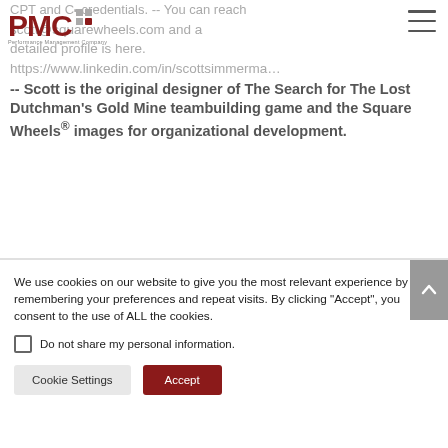PMC — Performance Management Company
CPT and C credentials. -- You can reach scott@squarewheels.com and a detailed profile is here. https://www.linkedin.com/in/scottsimmerman -- Scott is the original designer of The Search for The Lost Dutchman's Gold Mine teambuilding game and the Square Wheels® images for organizational development.
We use cookies on our website to give you the most relevant experience by remembering your preferences and repeat visits. By clicking "Accept", you consent to the use of ALL the cookies.
Do not share my personal information.
Cookie Settings    Accept